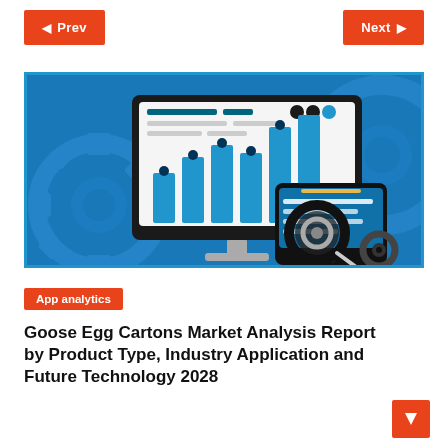◀ Prev    Next ▶
[Figure (illustration): Illustration of a desktop computer monitor displaying a bar chart with teal/blue bars, surrounded by grey gear icons in the background, with a tablet device and magnifying glass overlay on the right side, all on a blue background]
App analytics
Goose Egg Cartons Market Analysis Report by Product Type, Industry Application and Future Technology 2028